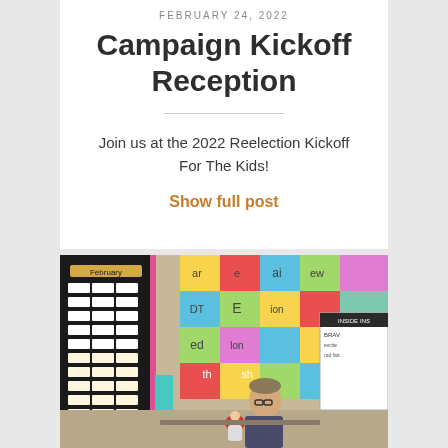FEBRUARY 24, 2022
Campaign Kickoff Reception
Join us at the 2022 Reelection Kickoff For The Kids!
Show full post
[Figure (photo): Classroom scene with a teacher at a desk, colorful phonics/alphabet wall charts in the background, and educational materials visible]